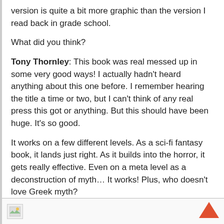version is quite a bit more graphic than the version I read back in grade school.
What did you think?
Tony Thornley: This book was real messed up in some very good ways! I actually hadn't heard anything about this one before. I remember hearing the title a time or two, but I can't think of any real press this got or anything. But this should have been huge. It's so good.
It works on a few different levels. As a sci-fi fantasy book, it lands just right. As it builds into the horror, it gets really effective. Even on a meta level as a deconstruction of myth… It works! Plus, who doesn't love Greek myth?
[Figure (other): Footer bar with a small image placeholder icon on the left and a red/orange upward chevron arrow on the right]